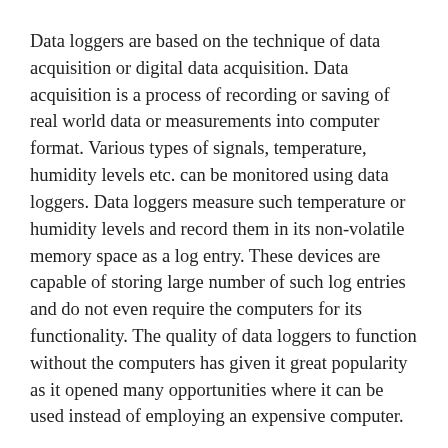Data loggers are based on the technique of data acquisition or digital data acquisition. Data acquisition is a process of recording or saving of real world data or measurements into computer format. Various types of signals, temperature, humidity levels etc. can be monitored using data loggers. Data loggers measure such temperature or humidity levels and record them in its non-volatile memory space as a log entry. These devices are capable of storing large number of such log entries and do not even require the computers for its functionality. The quality of data loggers to function without the computers has given it great popularity as it opened many opportunities where it can be used instead of employing an expensive computer.
Moreover, data loggers are also portable and can be used with various technologies to figure out a new meaning and use for the device. For example, Bluetooth GPS data